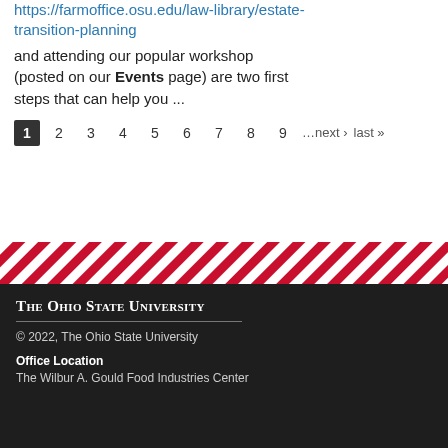https://farmoffice.osu.edu/law-library/estate-transition-planning and attending our popular workshop (posted on our Events page) are two first steps that can help you ...
1 2 3 4 5 6 7 8 9 …next › last »
[Figure (other): Diagonal red and white striped decorative banner]
THE OHIO STATE UNIVERSITY
© 2022, The Ohio State University
Office Location
The Wilbur A. Gould Food Industries Center